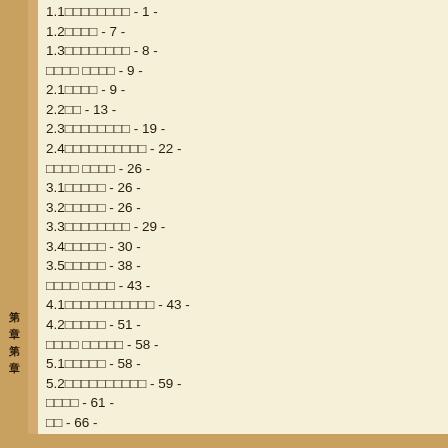1.1□□□□□□□□ - 1 -
1.2□□□□ - 7 -
1.3□□□□□□□□ - 8 -
□□□□ □□□□ - 9 -
2.1□□□□ - 9 -
2.2□□ - 13 -
2.3□□□□□□□□ - 19 -
2.4□□□□□□□□□□ - 22 -
□□□□ □□□□ - 26 -
3.1□□□□□ - 26 -
3.2□□□□□ - 26 -
3.3□□□□□□□□ - 29 -
3.4□□□□□ - 30 -
3.5□□□□□ - 38 -
□□□□ □□□□ - 43 -
4.1□□□□□□□□□□□ - 43 -
4.2□□□□□ - 51 -
□□□□ □□□□□ - 58 -
5.1□□□□□ - 58 -
5.2□□□□□□□□□□ - 59 -
□□□□ - 61 -
□□ - 66 -
□□□JACDEC□□□□□60□ - 66 -
□□□□□□□□□□□□□□□□□□□□ - 68 -